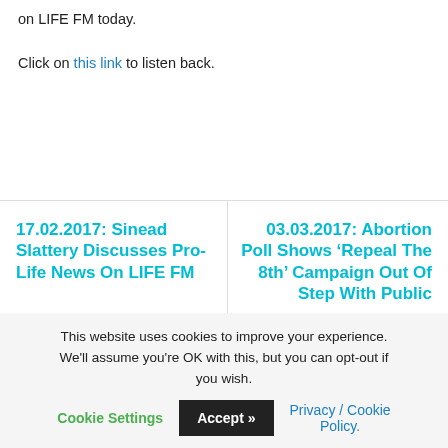on LIFE FM today.
Click on this link to listen back.
17.02.2017: Sinead Slattery Discusses Pro-Life News On LIFE FM
03.03.2017: Abortion Poll Shows ‘Repeal The 8th’ Campaign Out Of Step With Public
This website uses cookies to improve your experience. We’ll assume you’re OK with this, but you can opt-out if you wish.
Cookie Settings | Accept >> | Privacy / Cookie Policy.